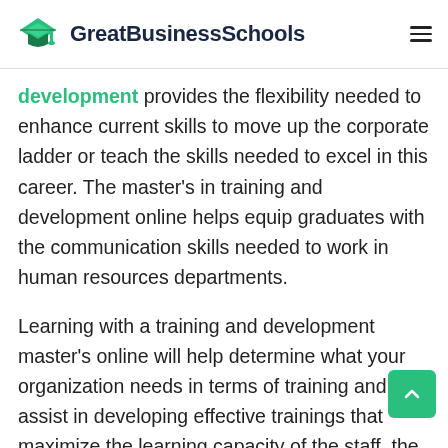GreatBusinessSchools
development provides the flexibility needed to enhance current skills to move up the corporate ladder or teach the skills needed to excel in this career. The master's in training and development online helps equip graduates with the communication skills needed to work in human resources departments.
Learning with a training and development master's online will help determine what your organization needs in terms of training and will assist in developing effective trainings that maximize the learning capacity of the staff, the